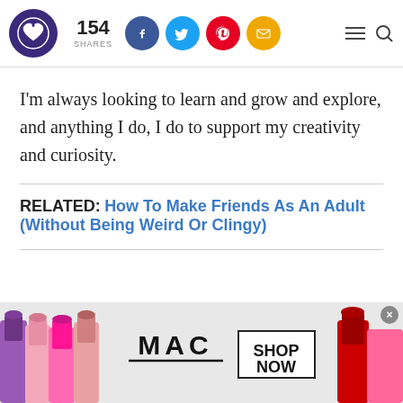154 SHARES — social sharing header with logo
I'm always looking to learn and grow and explore, and anything I do, I do to support my creativity and curiosity.
RELATED: How To Make Friends As An Adult (Without Being Weird Or Clingy)
[Figure (photo): MAC Cosmetics advertisement banner showing colorful lipsticks with MAC logo and SHOP NOW button]